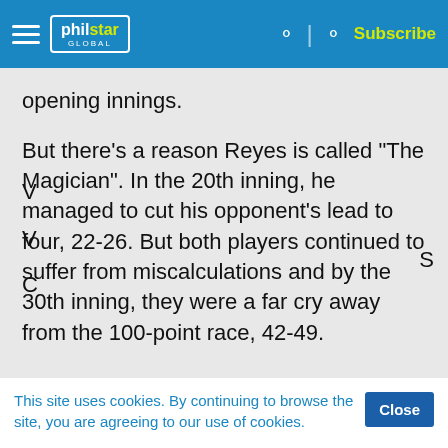philstar GLOBAL | Subscribe
opening innings.
But there's a reason Reyes is called "The Magician". In the 20th inning, he managed to cut his opponent's lead to four, 22-26. But both players continued to suffer from miscalculations and by the 30th inning, they were a far cry away from the 100-point race, 42-49.
This site uses cookies. By continuing to browse the site, you are agreeing to our use of cookies.